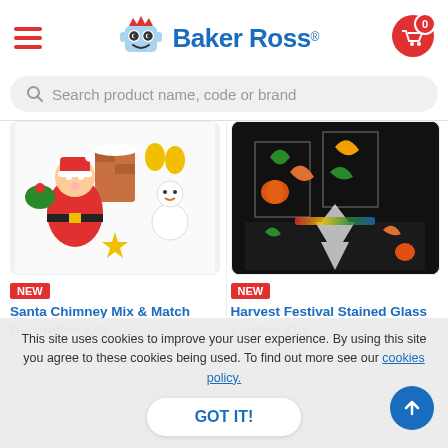Baker Ross
Search product name, code or brand
[Figure (photo): Santa Chimney Mix & Match foam decoration craft pieces — colourful foam Santa, snowman, chimney, bells, and Christmas shapes scattered on white background]
NEW
Santa Chimney Mix & Match Decoration Kits
[Figure (photo): Harvest Festival Stained Glass Lantern Kits — black paper lanterns with colourful stained glass autumn leaf designs and pumpkin motifs]
NEW
Harvest Festival Stained Glass Lantern Kits
This site uses cookies to improve your user experience. By using this site you agree to these cookies being used. To find out more see our cookies policy.
GOT IT!